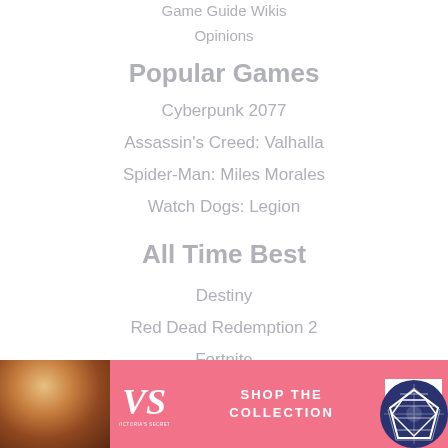Game Guide Wikis
Opinions
Popular Games
Cyberpunk 2077
Assassin's Creed: Valhalla
Spider-Man: Miles Morales
Watch Dogs: Legion
All Time Best
Destiny
Red Dead Redemption 2
Fortnite
[Figure (infographic): Victoria's Secret advertisement banner with pink background, model photo, VS logo, 'SHOP THE COLLECTION' text, and 'SHOP NOW' button]